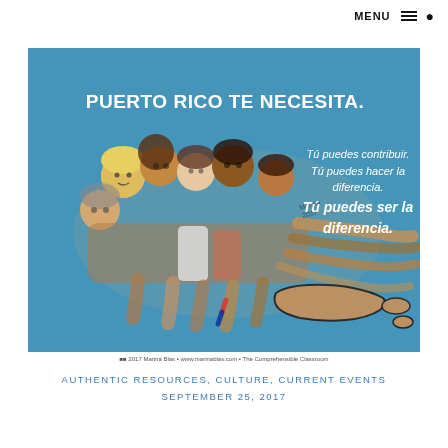MENU
[Figure (illustration): Illustration on blue background showing diverse group of people forming shape of USA map, with text in white: 'PUERTO RICO TE NECESITA. Tú puedes contribuir. Tú puedes hacer la diferencia. Tú puedes ser la diferencia.' Map outline of Puerto Rico shown at bottom right.]
2017 Marina Blas • www.marinablas.com • The Comprehensible Classroom
AUTHENTIC RESOURCES, CULTURE, CURRENT EVENTS
SEPTEMBER 25, 2017